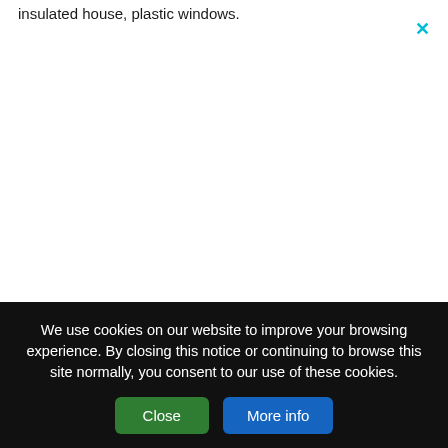insulated house, plastic windows.
We use cookies on our website to improve your browsing experience. By closing this notice or continuing to browse this site normally, you consent to our use of these cookies.
Close
More info